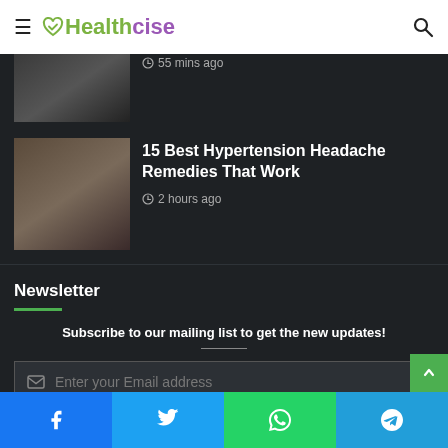≡ ♥Healthcise 🔍
55 mins ago
15 Best Hypertension Headache Remedies That Work
2 hours ago
Newsletter
Subscribe to our mailing list to get the new updates!
Enter your Email address
Subscribe